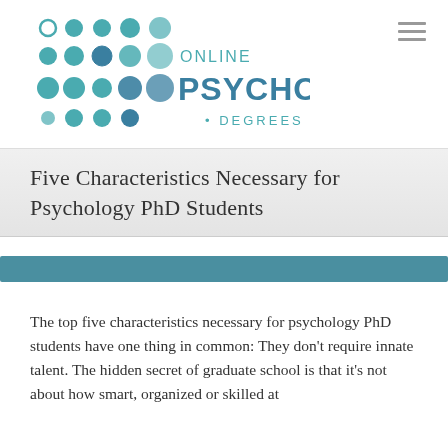[Figure (logo): Online Psychology Degrees logo with teal circles pattern and text]
Five Characteristics Necessary for Psychology PhD Students
The top five characteristics necessary for psychology PhD students have one thing in common: They don't require innate talent. The hidden secret of graduate school is that it's not about how smart, organized or skilled at